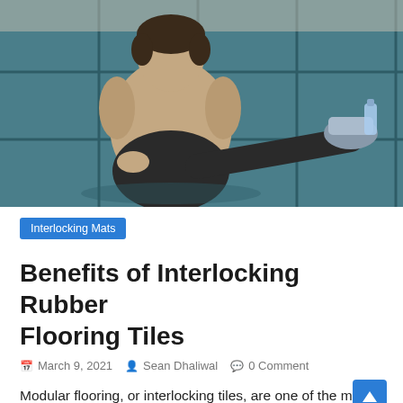[Figure (photo): Person sitting on blue interlocking rubber floor tiles, viewed from behind, wearing a beige shirt and dark pants, one leg extended, holding a water bottle with their foot.]
Interlocking Mats
Benefits of Interlocking Rubber Flooring Tiles
March 9, 2021   Sean Dhaliwal   0 Comment
Modular flooring, or interlocking tiles, are one of the most customizable rubber flooring options available. Compared to rolled rubber flooring,